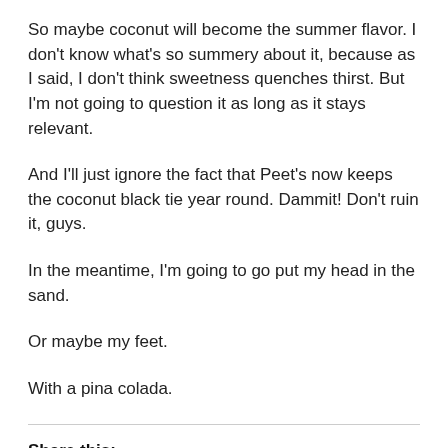So maybe coconut will become the summer flavor. I don't know what's so summery about it, because as I said, I don't think sweetness quenches thirst. But I'm not going to question it as long as it stays relevant.
And I'll just ignore the fact that Peet's now keeps the coconut black tie year round. Dammit! Don't ruin it, guys.
In the meantime, I'm going to go put my head in the sand.
Or maybe my feet.
With a pina colada.
Share this: